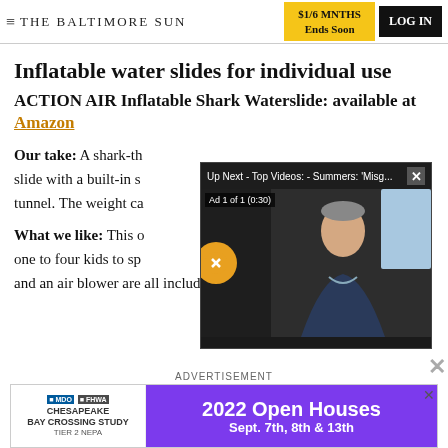THE BALTIMORE SUN | $1/6 MNTHS Ends Soon | LOG IN
Inflatable water slides for individual use
ACTION AIR Inflatable Shark Waterslide: available at Amazon
Our take: A shark-th… slide with a built-in s… tunnel. The weight ca…
What we like: This o… one to four kids to sp… and an air blower are all included, and protective
[Figure (screenshot): Video overlay: Up Next - Top Videos: - Summers: 'Misg... Ad 1 of 1 (0:30) with mute button and person speaking on video]
[Figure (screenshot): Advertisement banner: Chesapeake Bay Crossing Study Tier 2 NEPA - 2022 Open Houses Sept. 7th, 8th & 13th]